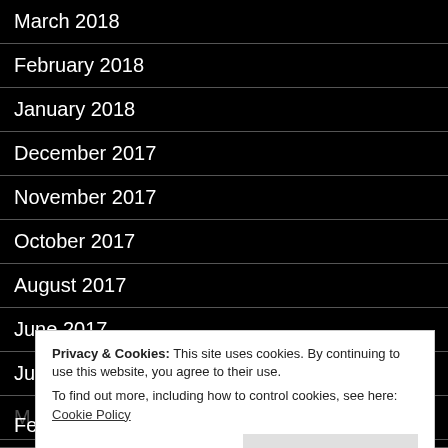March 2018
February 2018
January 2018
December 2017
November 2017
October 2017
August 2017
June 2017
June 2016
M…
A…
M…
February 2016
Privacy & Cookies: This site uses cookies. By continuing to use this website, you agree to their use.
To find out more, including how to control cookies, see here: Cookie Policy